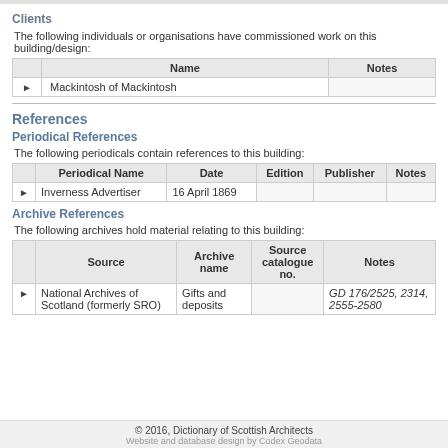Clients
The following individuals or organisations have commissioned work on this building/design:
|  | Name | Notes |
| --- | --- | --- |
| ▶ | Mackintosh of Mackintosh |  |
References
Periodical References
The following periodicals contain references to this building:
|  | Periodical Name | Date | Edition | Publisher | Notes |
| --- | --- | --- | --- | --- | --- |
| ▶ | Inverness Advertiser | 16 April 1869 |  |  |  |
Archive References
The following archives hold material relating to this building:
|  | Source | Archive name | Source catalogue no. | Notes |
| --- | --- | --- | --- | --- |
| ▶ | National Archives of Scotland (formerly SRO) | Gifts and deposits |  | GD 176/2525, 2314, 2555-2580 |
© 2016, Dictionary of Scottish Architects
Website and database design by Codex Geodata